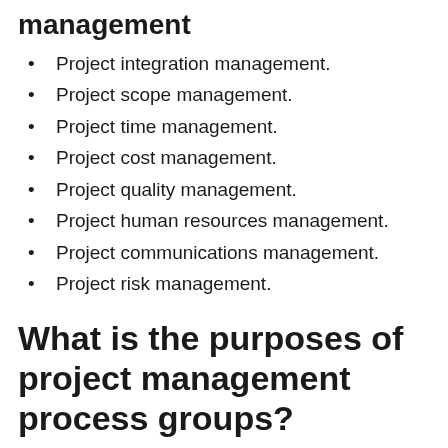management
Project integration management.
Project scope management.
Project time management.
Project cost management.
Project quality management.
Project human resources management.
Project communications management.
Project risk management.
What is the purposes of project management process groups?
Instituting this process group means that you keep an eye on the project's constraints throughout the Planning and Execution